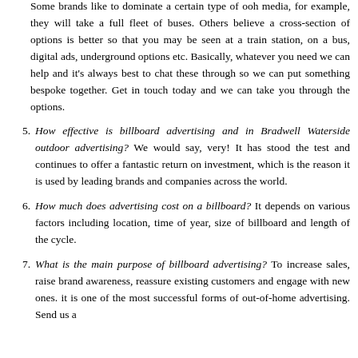Some brands like to dominate a certain type of ooh media, for example, they will take a full fleet of buses. Others believe a cross-section of options is better so that you may be seen at a train station, on a bus, digital ads, underground options etc. Basically, whatever you need we can help and it's always best to chat these through so we can put something bespoke together. Get in touch today and we can take you through the options.
How effective is billboard advertising and in Bradwell Waterside outdoor advertising? We would say, very! It has stood the test and continues to offer a fantastic return on investment, which is the reason it is used by leading brands and companies across the world.
How much does advertising cost on a billboard? It depends on various factors including location, time of year, size of billboard and length of the cycle.
What is the main purpose of billboard advertising? To increase sales, raise brand awareness, reassure existing customers and engage with new ones. it is one of the most successful forms of out-of-home advertising. Send us a